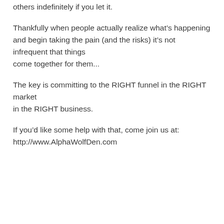others indefinitely if you let it.
Thankfully when people actually realize what’s happening and begin taking the pain (and the risks) it’s not infrequent that things come together for them...
The key is committing to the RIGHT funnel in the RIGHT market in the RIGHT business.
If you’d like some help with that, come join us at: http://www.AlphaWolfDen.com